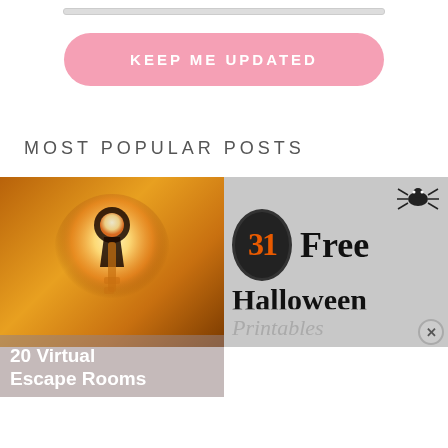[Figure (other): Pink rounded rectangle button with text KEEP ME UPDATED]
MOST POPULAR POSTS
[Figure (photo): Photo of a glowing key in a keyhole with warm orange light, with overlay text '20 Virtual Escape Rooms']
[Figure (illustration): Halloween graphic with oval '31', spider, text 'Free Halloween Printables' on gray background]